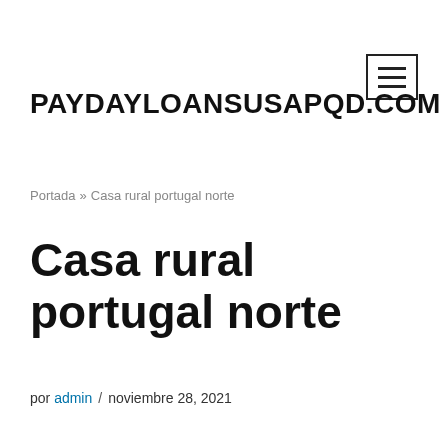PAYDAYLOANSUSAPQD.COM
Portada » Casa rural portugal norte
Casa rural portugal norte
por admin / noviembre 28, 2021